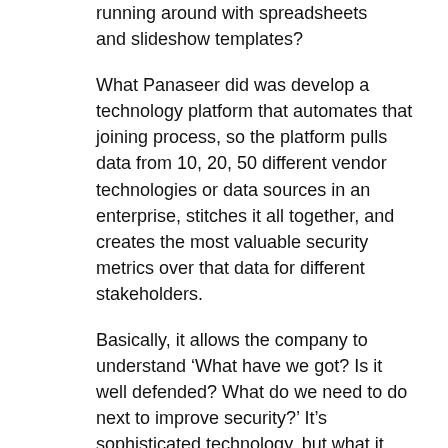running around with spreadsheets and slideshow templates?
What Panaseer did was develop a technology platform that automates that joining process, so the platform pulls data from 10, 20, 50 different vendor technologies or data sources in an enterprise, stitches it all together, and creates the most valuable security metrics over that data for different stakeholders.
Basically, it allows the company to understand ‘What have we got? Is it well defended? What do we need to do next to improve security?’ It’s sophisticated technology, but what it does is simple really – visibility, measurement and remediation for cybersecurity risk.
Creating a category
What we were doing was new, so we had to start building market awareness from scratch. The